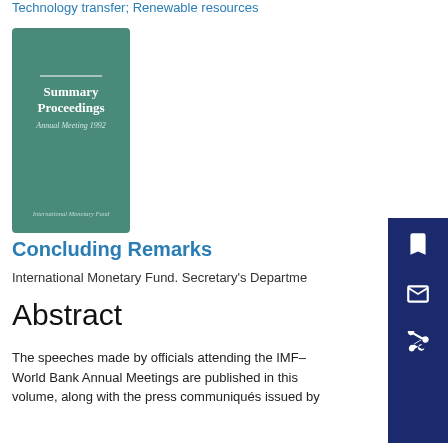Technology transfer; Renewable resources
[Figure (illustration): Book cover of 'Summary Proceedings Annual Meeting 1992' published by International Monetary Fund, teal/green colored cover with white text]
Concluding Remarks
International Monetary Fund. Secretary's Department
Abstract
The speeches made by officials attending the IMF–World Bank Annual Meetings are published in this volume, along with the press communiqués issued by